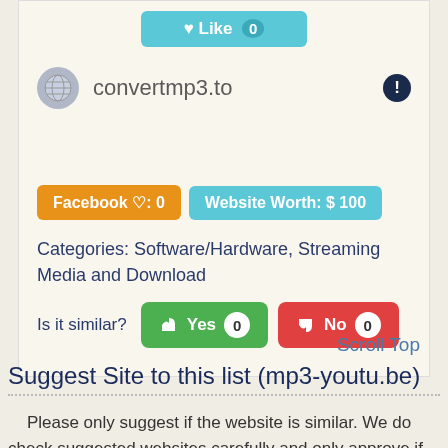[Figure (screenshot): Like button - teal rounded button with heart icon and count 0]
convertmp3.to
Facebook ♡: 0   Website Worth: $ 100
Categories: Software/Hardware, Streaming Media and Download
Is it similar?  Yes 0   No 0
Scroll Top
Suggest Site to this list (mp3-youtu.be)
Please only suggest if the website is similar. We do check suggested websites carefully and only approve if it's completely similar.